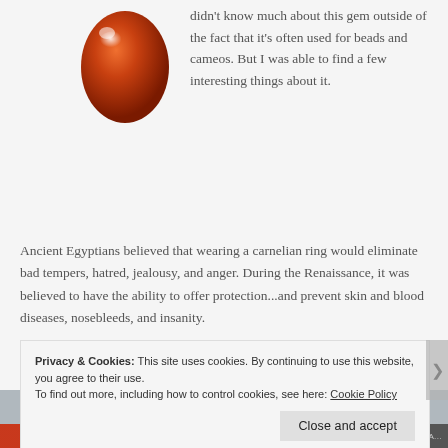[Figure (illustration): A shiny orange-red carnelian gemstone, oval shaped, with a glossy highlight, rendered as a 3D illustration.]
didn't know much about this gem outside of the fact that it's often used for beads and cameos. But I was able to find a few interesting things about it.
Ancient Egyptians believed that wearing a carnelian ring would eliminate bad tempers, hatred, jealousy, and anger. During the Renaissance, it was believed to have the ability to offer protection...and prevent skin and blood diseases, nosebleeds, and insanity.
Privacy & Cookies: This site uses cookies. By continuing to use this website, you agree to their use.
To find out more, including how to control cookies, see here: Cookie Policy
Close and accept